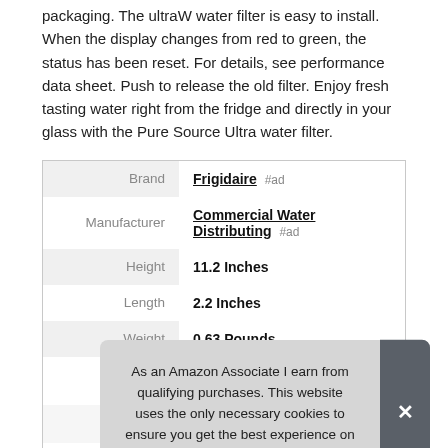packaging. The ultraW water filter is easy to install. When the display changes from red to green, the status has been reset. For details, see performance data sheet. Push to release the old filter. Enjoy fresh tasting water right from the fridge and directly in your glass with the Pure Source Ultra water filter.
|  |  |
| --- | --- |
| Brand | Frigidaire #ad |
| Manufacturer | Commercial Water Distributing #ad |
| Height | 11.2 Inches |
| Length | 2.2 Inches |
| Weight | 0.63 Pounds |
| P |  |
|  |  |
| Warranty | Limited Warranty |
As an Amazon Associate I earn from qualifying purchases. This website uses the only necessary cookies to ensure you get the best experience on our website. More information